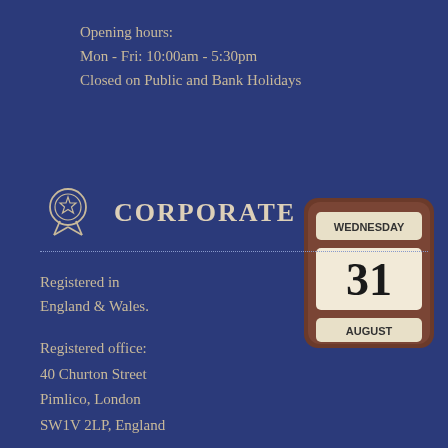Opening hours:
Mon - Fri: 10:00am - 5:30pm
Closed on Public and Bank Holidays
CORPORATE
[Figure (photo): Wooden desk calendar showing Wednesday, 31 August]
Registered in England & Wales.
Registered office:
40 Churton Street
Pimlico, London
SW1V 2LP, England
Company Reg. No. 5652450